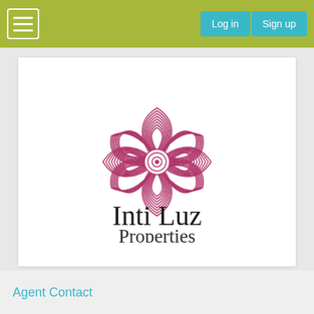Log in  Sign up
[Figure (logo): Inti Luz Properties logo: a decorative flower/rosette design made of concentric petal outlines in magenta/purple, above the text 'Inti Luz Properties' in serif font]
Agent Contact